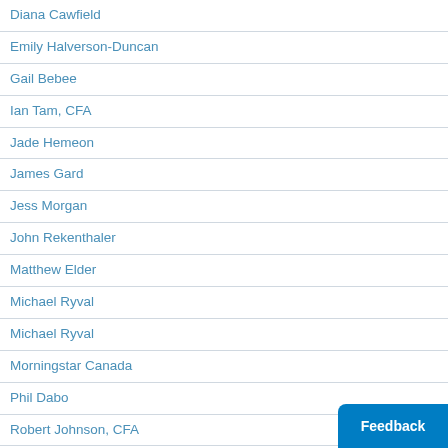Diana Cawfield
Emily Halverson-Duncan
Gail Bebee
Ian Tam, CFA
Jade Hemeon
James Gard
Jess Morgan
John Rekenthaler
Matthew Elder
Michael Ryval
Michael Ryval
Morningstar Canada
Phil Dabo
Robert Johnson, CFA
Rudy Luukko
Ruth Saldanha
Sonita Horvitch
Susan Dziubinski
Vikram Barhat